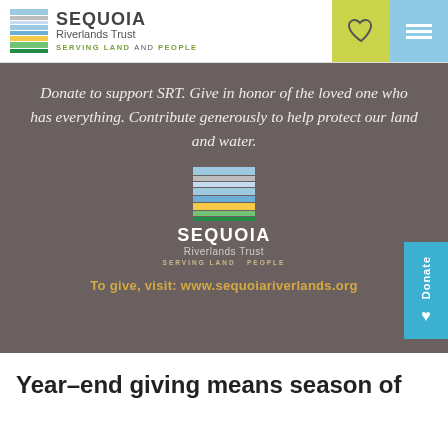[Figure (logo): Sequoia Riverlands Trust logo with colored horizontal stripes, organization name, and tagline 'SERVING LAND and PEOPLE'. Header navigation with heart icon and hamburger menu.]
[Figure (infographic): Dark brown banner with italic serif quote: 'Donate to support SRT. Give in honor of the loved one who has everything. Contribute generously to help protect our land and water.' Centered Sequoia Riverlands Trust logo in white, tagline, and URL 'To give, visit: www.sequoiariverlands.org' in gold text. Blue 'Donate' side button on right.]
Year-end giving means season of